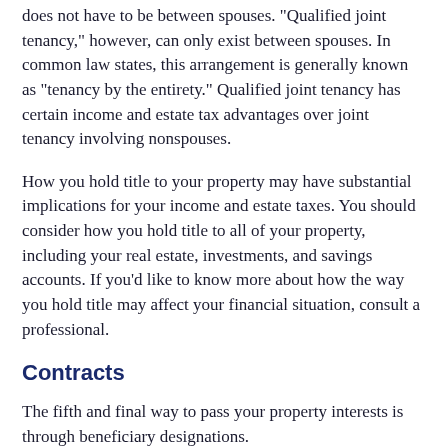does not have to be between spouses. "Qualified joint tenancy," however, can only exist between spouses. In common law states, this arrangement is generally known as "tenancy by the entirety." Qualified joint tenancy has certain income and estate tax advantages over joint tenancy involving nonspouses.
How you hold title to your property may have substantial implications for your income and estate taxes. You should consider how you hold title to all of your property, including your real estate, investments, and savings accounts. If you'd like to know more about how the way you hold title may affect your financial situation, consult a professional.
Contracts
The fifth and final way to pass your property interests is through beneficiary designations.
If you have an employer-sponsored retirement plan, an